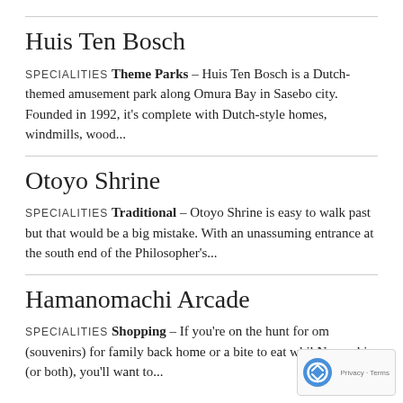Huis Ten Bosch
SPECIALITIES THEME PARKS - Huis Ten Bosch is a Dutch-themed amusement park along Omura Bay in Sasebo city. Founded in 1992, it's complete with Dutch-style homes, windmills, wood...
Otoyo Shrine
SPECIALITIES TRADITIONAL - Otoyo Shrine is easy to walk past but that would be a big mistake. With an unassuming entrance at the south end of the Philosopher's...
Hamanomachi Arcade
SPECIALITIES SHOPPING - If you're on the hunt for om (souvenirs) for family back home or a bite to eat whil Nagasaki (or both), you'll want to...